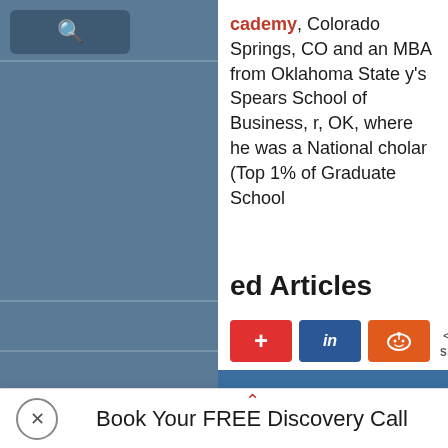cademy, Colorado Springs, CO and an MBA from Oklahoma State y's Spears School of Business, r, OK, where he was a National cholar (Top 1% of Graduate School
[Figure (screenshot): Social share buttons row: red plus button, blue LinkedIn button, orange Reddit button, and 9K SHARES count]
ed Articles
[Figure (other): Blue banner strip]
Book Your FREE Discovery Call